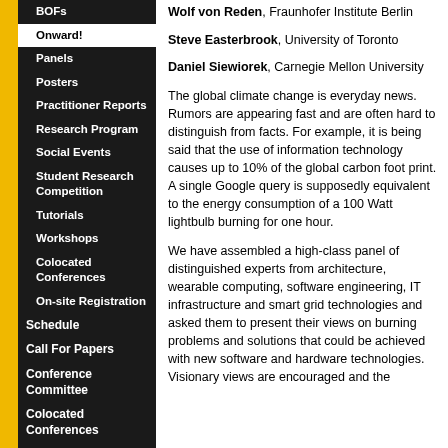BOFs
Onward!
Panels
Posters
Practitioner Reports
Research Program
Social Events
Student Research Competition
Tutorials
Workshops
Colocated Conferences
On-site Registration
Schedule
Call For Papers
Conference Committee
Colocated Conferences
Support OOPSLA
OOPSLA Supporters
Wolf von Reden, Fraunhofer Institute Berlin
Steve Easterbrook, University of Toronto
Daniel Siewiorek, Carnegie Mellon University
The global climate change is everyday news. Rumors are appearing fast and are often hard to distinguish from facts. For example, it is being said that the use of information technology causes up to 10% of the global carbon foot print. A single Google query is supposedly equivalent to the energy consumption of a 100 Watt lightbulb burning for one hour.
We have assembled a high-class panel of distinguished experts from architecture, wearable computing, software engineering, IT infrastructure and smart grid technologies and asked them to present their views on burning problems and solutions that could be achieved with new software and hardware technologies. Visionary views are encouraged and the